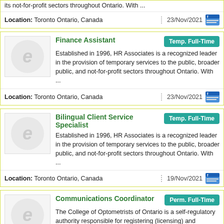Finance Assistant | Temp. Full-Time | Established in 1996, HR Associates is a recognized leader in the provision of temporary services to the public, broader public, and not-for-profit sectors throughout Ontario. With ... | Location: Toronto Ontario, Canada | 23/Nov/2021
Bilingual Client Service Specialist | Temp. Full-Time | Established in 1996, HR Associates is a recognized leader in the provision of temporary services to the public, broader public, and not-for-profit sectors throughout Ontario. With ... | Location: Toronto Ontario, Canada | 19/Nov/2021
Communications Coordinator | Perm. Full-Time | The College of Optometrists of Ontario is a self-regulatory authority responsible for registering (licensing) and governing optometrists in Ontario. Optometry has been regulated in ... | Location: Toronto Ontario, Canada | 11/Nov/2021
Coordinator, Investigations and Hearings | Perm. Full-Time | The College of Optometrists of Ontario is recruiting for the permanent, full-time position of Coordinator, Investigations and